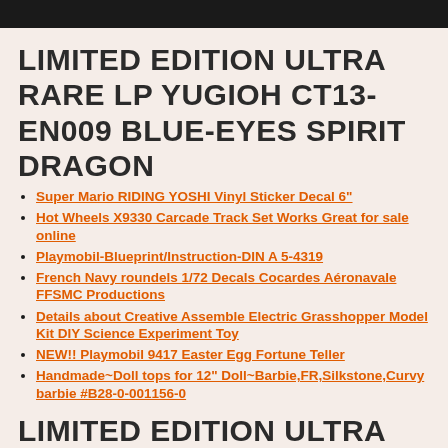[Figure (other): Dark header bar with partial circular logo/icon elements visible]
LIMITED EDITION ULTRA RARE LP YUGIOH CT13-EN009 BLUE-EYES SPIRIT DRAGON
Super Mario RIDING YOSHI Vinyl Sticker Decal 6"
Hot Wheels X9330 Carcade Track Set Works Great for sale online
Playmobil-Blueprint/Instruction-DIN A 5-4319
French Navy roundels 1/72 Decals Cocardes Aéronavale FFSMC Productions
Details about  Creative Assemble Electric Grasshopper Model Kit DIY Science Experiment Toy
NEW!! Playmobil 9417 Easter Egg Fortune Teller
Handmade~Doll tops for 12" Doll~Barbie,FR,Silkstone,Curvy barbie #B28-0-001156-0
LIMITED EDITION ULTRA